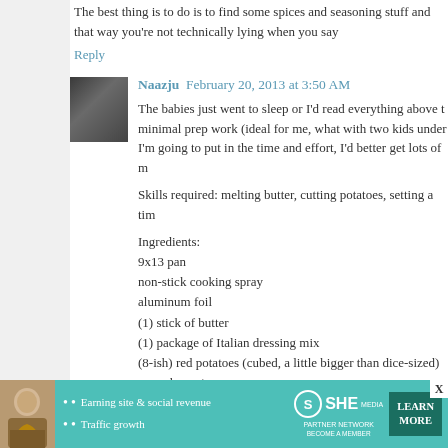The best thing is to do is to find some spices and seasoning stuff and that way you're not technically lying when you say
Reply
Naazju  February 20, 2013 at 3:50 AM
The babies just went to sleep or I'd read everything above t minimal prep work (ideal for me, what with two kids under I'm going to put in the time and effort, I'd better get lots of m
Skills required: melting butter, cutting potatoes, setting a tim
Ingredients:
9x13 pan
non-stick cooking spray
aluminum foil
(1) stick of butter
(1) package of Italian dressing mix
(8-ish) red potatoes (cubed, a little bigger than dice-sized)
green beans/asparagus
boneless, skinless chicken breasts (4 - 6) OR thighs (6 - 8)
Get out a 9x13 inch pan. Spray with non-stick spray.
Turn the oven on to 350*
Melt (1) stick of butter. (Carefully! Make sure you only
[Figure (infographic): SHE Partner Network advertisement banner with woman photo, bullets about Earning site & social revenue and Traffic growth, SHE logo, and LEARN MORE button]